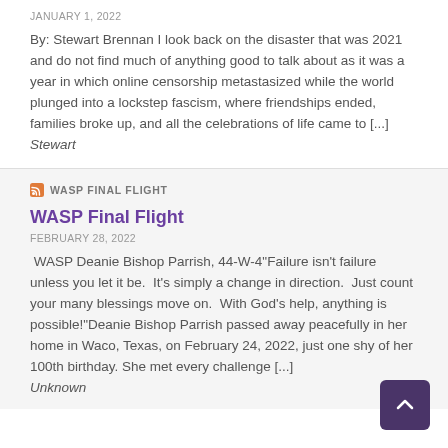JANUARY 1, 2022
By: Stewart Brennan I look back on the disaster that was 2021 and do not find much of anything good to talk about as it was a year in which online censorship metastasized while the world plunged into a lockstep fascism, where friendships ended, families broke up, and all the celebrations of life came to [...] Stewart
WASP FINAL FLIGHT
WASP Final Flight
FEBRUARY 28, 2022
WASP Deanie Bishop Parrish, 44-W-4"Failure isn't failure unless you let it be. It's simply a change in direction. Just count your many blessings move on. With God's help, anything is possible!"Deanie Bishop Parrish passed away peacefully in her home in Waco, Texas, on February 24, 2022, just one shy of her 100th birthday. She met every challenge [...] Unknown